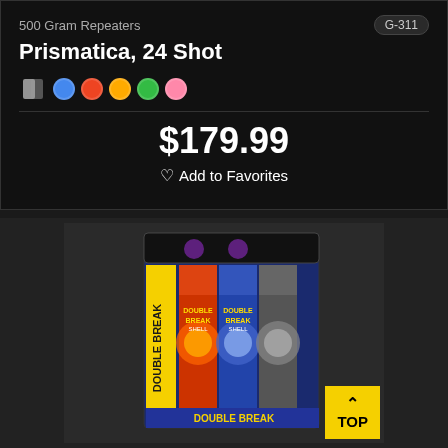500 Gram Repeaters
G-311
Prismatica, 24 Shot
$179.99
Add to Favorites
[Figure (photo): Product photo of Double Break Shell fireworks box set, showing four mortar tubes with colorful labels in a display box. A yellow 'TOP' badge with chevron is visible in the bottom right corner.]